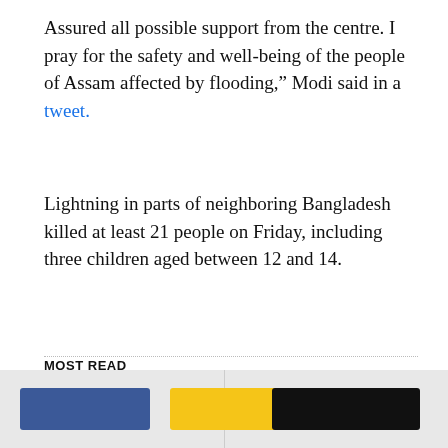Assured all possible support from the centre. I pray for the safety and well-being of the people of Assam affected by flooding,” Modi said in a tweet.
Lightning in parts of neighboring Bangladesh killed at least 21 people on Friday, including three children aged between 12 and 14.
MOST READ
DOJ Responds to Trump’s Request for Special Master
Read More >
[Figure (photo): Person in dark clothing standing near a vehicle outdoors, with palm trees and a blue wall in background. PREMIUM badge visible.]